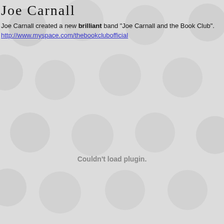Joe Carnall
Joe Carnall created a new brilliant band "Joe Carnall and the Book Club". http://www.myspace.com/thebookclubofficial
[Figure (other): Gray polka dot background pattern with a plugin error message reading 'Couldn't load plugin.']